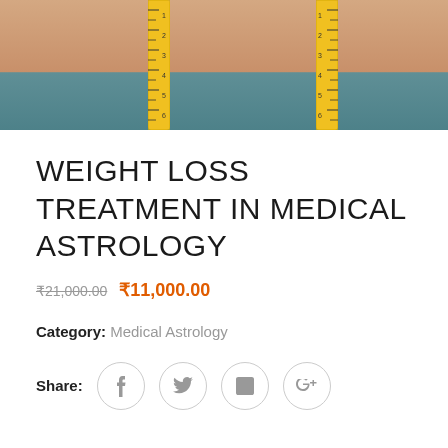[Figure (photo): Close-up photo of a person's midsection with a yellow measuring tape wrapped around the waist, wearing teal clothing. Used to illustrate weight loss treatment.]
WEIGHT LOSS TREATMENT IN MEDICAL ASTROLOGY
₹21,000.00  ₹11,000.00
Category: Medical Astrology
Share: